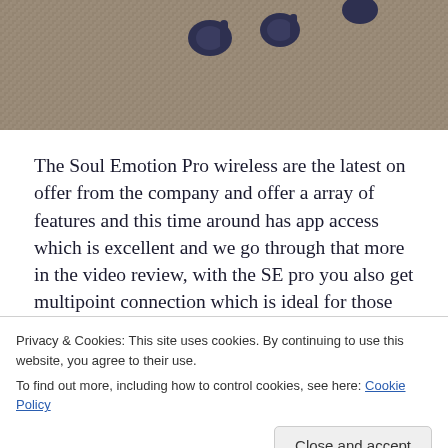[Figure (photo): Photograph of wireless earbuds resting on a beige/tan carpet surface, viewed from above. The earbuds appear to be dark blue or black in color with a small stem design.]
The Soul Emotion Pro wireless are the latest on offer from the company and offer a array of features and this time around has app access which is excellent and we go through that more in the video review, with the SE pro you also get multipoint connection which is ideal for those who use more that one device at a time like me and makes life that much easier having
Privacy & Cookies: This site uses cookies. By continuing to use this website, you agree to their use.
To find out more, including how to control cookies, see here: Cookie Policy
well in the ears and have a tiny stem for good